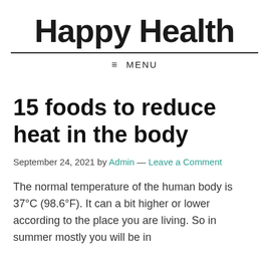Happy Health
15 foods to reduce heat in the body
September 24, 2021 by Admin — Leave a Comment
The normal temperature of the human body is 37°C (98.6°F). It can a bit higher or lower according to the place you are living. So in summer mostly you will be in